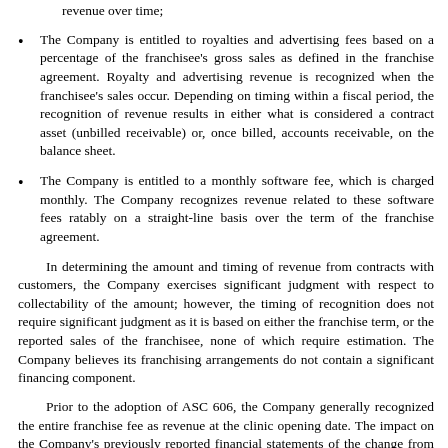revenue over time;
The Company is entitled to royalties and advertising fees based on a percentage of the franchisee's gross sales as defined in the franchise agreement. Royalty and advertising revenue is recognized when the franchisee's sales occur. Depending on timing within a fiscal period, the recognition of revenue results in either what is considered a contract asset (unbilled receivable) or, once billed, accounts receivable, on the balance sheet.
The Company is entitled to a monthly software fee, which is charged monthly. The Company recognizes revenue related to these software fees ratably on a straight-line basis over the term of the franchise agreement.
In determining the amount and timing of revenue from contracts with customers, the Company exercises significant judgment with respect to collectability of the amount; however, the timing of recognition does not require significant judgment as it is based on either the franchise term, or the reported sales of the franchisee, none of which require estimation. The Company believes its franchising arrangements do not contain a significant financing component.
Prior to the adoption of ASC 606, the Company generally recognized the entire franchise fee as revenue at the clinic opening date. The impact on the Company's previously reported financial statements of the change from that policy to the policy described above is presented in Note 1, Nature of Operations and Summary of Significant Accounting Policies.
Under ASC 606, the Company will record advertising fees received under